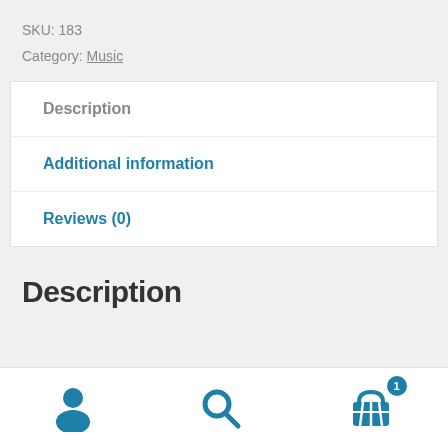SKU: 183
Category: Music
Description
Additional information
Reviews (0)
Description
[Figure (infographic): Bottom navigation bar with three icons: user/person icon, search/magnifying glass icon, and shopping basket icon with badge showing count 1]